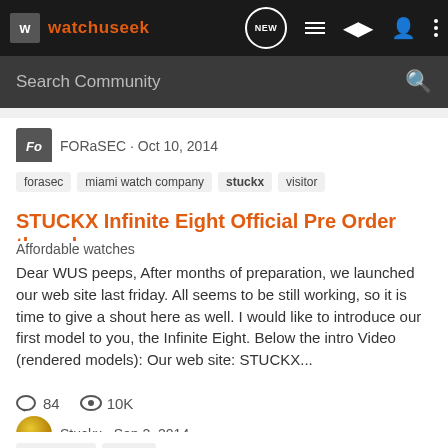watchuseek
Search Community
FORaSEC · Oct 10, 2014
forasec   miami watch company   stuckx   visitor
STUCKX Infinite Eight Official Pre Order thread
Affordable watches
Dear WUS peeps, After months of preparation, we launched our web site last friday. All seems to be still working, so it is time to give a shout here as well. I would like to introduce our first model to you, the Infinite Eight. Below the intro Video (rendered models): Our web site: STUCKX...
84   10K
Stuckx · Sep 2, 2014
infinite eight   stuckx